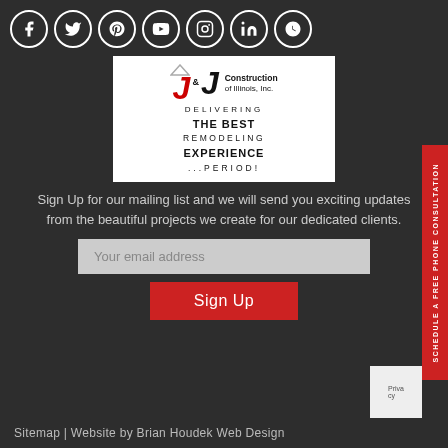[Figure (illustration): Row of 7 social media icon circles: Facebook, Twitter, Pinterest, YouTube, Instagram, LinkedIn, Yelp — white icons on dark background with white circular borders]
[Figure (logo): J&J Construction of Illinois, Inc. logo with tagline: DELIVERING THE BEST REMODELING EXPERIENCE ...PERIOD!]
Sign Up for our mailing list and we will send you exciting updates from the beautiful projects we create for our dedicated clients.
[Figure (other): Email address input field with placeholder text 'Your email address']
[Figure (other): Red Sign Up button]
[Figure (other): Red vertical sidebar tab reading SCHEDULE A FREE PHONE CONSULTATION]
Sitemap  |  Website by Brian Houdek Web Design